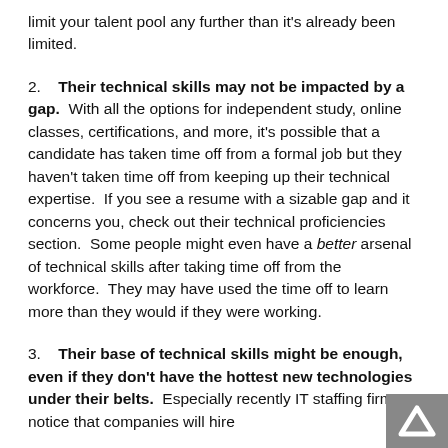limit your talent pool any further than it's already been limited.
2.   Their technical skills may not be impacted by a gap.  With all the options for independent study, online classes, certifications, and more, it's possible that a candidate has taken time off from a formal job but they haven't taken time off from keeping up their technical expertise.  If you see a resume with a sizable gap and it concerns you, check out their technical proficiencies section.  Some people might even have a better arsenal of technical skills after taking time off from the workforce.  They may have used the time off to learn more than they would if they were working.
3.   Their base of technical skills might be enough, even if they don't have the hottest new technologies under their belts.  Especially recently IT staffing firms notice that companies will hire
[Figure (logo): Lambda logo — white caret/chevron on grey background, bottom-right corner]